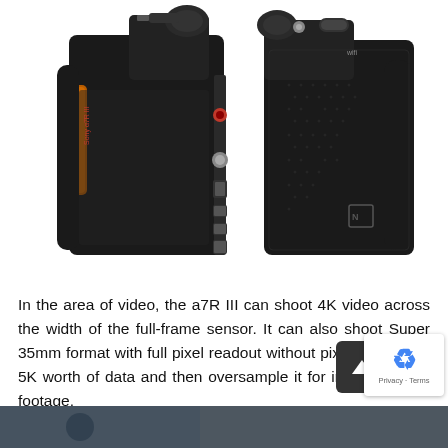[Figure (photo): Two side views of a Sony a7R III mirrorless camera body — left side showing ports (headphone jack, mic jack, USB-C, HDMI, multi-terminal ports) with orange lens mount ring visible, and right side showing the textured grip and NFC logo, both against a white background.]
In the area of video, the a7R III can shoot 4K video across the width of the full-frame sensor. It can also shoot Super 35mm format with full pixel readout without pixel binning for 5K worth of data and then oversample it for impressive 4K footage.
[Figure (photo): Partial bottom strip of an image, appears to be a dark/outdoor scene, partially visible at the bottom of the page.]